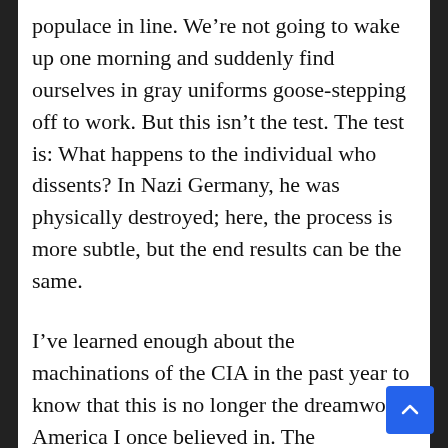populace in line. We're not going to wake up one morning and suddenly find ourselves in gray uniforms goose-stepping off to work. But this isn't the test. The test is: What happens to the individual who dissents? In Nazi Germany, he was physically destroyed; here, the process is more subtle, but the end results can be the same.
I've learned enough about the machinations of the CIA in the past year to know that this is no longer the dreamworld America I once believed in. The investigations of the corruption...